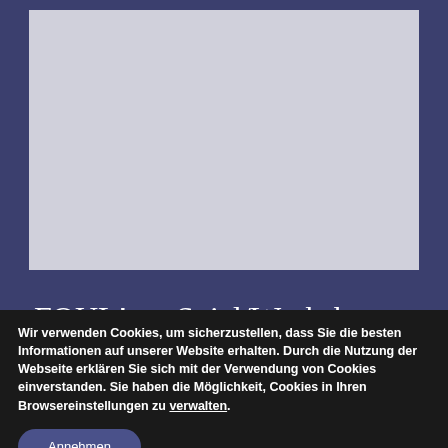[Figure (photo): Light grey rectangular image placeholder on a dark navy/purple background]
»FOUL!« – Spiel/Workshop zum Thema Diskriminierung
Wir verwenden Cookies, um sicherzustellen, dass Sie die besten Informationen auf unserer Website erhalten. Durch die Nutzung der Webseite erklären Sie sich mit der Verwendung von Cookies einverstanden. Sie haben die Möglichkeit, Cookies in Ihren Browsereinstellungen zu verwalten.
Annehmen